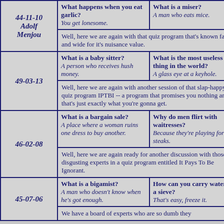| 44-11-10 Adolf Menjou | What happens when you eat garlic? / You get lonesome. | What is a miser? / A man who eats mice. | Well, here we are again with that quiz program that's known far and wide for it's nuisance value. |
| 49-03-13 | What is a baby sitter? / A person who receives hush money. | What is the most useless thing in the world? / A glass eye at a keyhole. | Well, here we are again with another session of that slap-happy quiz program IPTBI -- a program that promises you nothing and that's just exactly what you're gonna get. |
| 46-02-08 | What is a bargain sale? / A place where a woman ruins one dress to buy another. | Why do men flirt with waitresses? / Because they're playing for big steaks. | Well, here we are again ready for another discussion with those disgusting experts in a quiz program entitled It Pays To Be Ignorant. |
| 45-07-06 | What is a bigamist? / A man who doesn't know when he's got enough. | How can you carry water in a sieve? / That's easy, freeze it. | We have a board of experts who are so dumb they... |